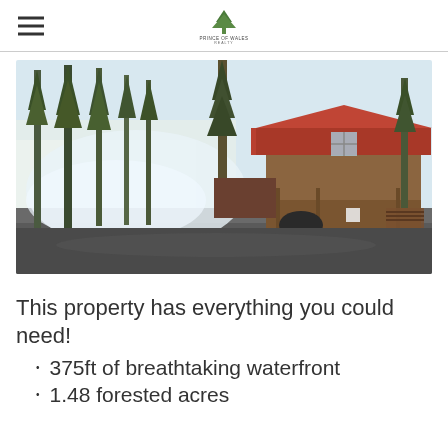Prince of Wales Realty logo
[Figure (photo): Exterior photo of a log cabin with a red metal roof, surrounded by tall pine trees in a misty forest setting. Gravel driveway in foreground.]
This property has everything you could need!
375ft of breathtaking waterfront
1.48 forested acres